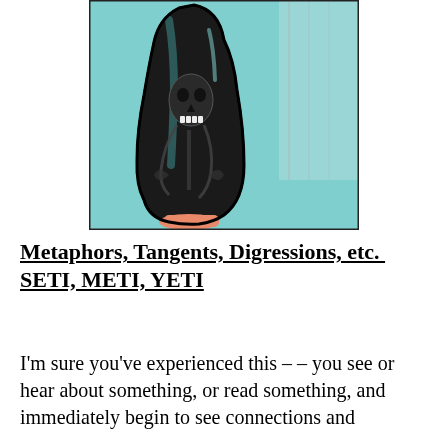[Figure (illustration): A digitally stylized illustration of a dark bottle/vase shape with a skull-like figure visible inside, set against a turquoise/teal background with dark outline strokes. The base of the bottle has an orange/salmon colored base.]
Metaphors, Tangents, Digressions, etc.  SETI, METI, YETI
I'm sure you've experienced this – – you see or hear about something, or read something, and immediately begin to see connections and